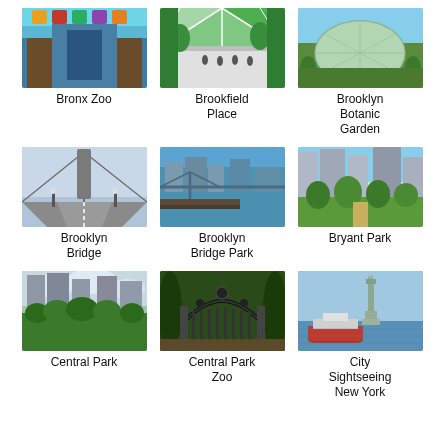[Figure (photo): Photo of Bronx Zoo entrance with colorful decorations]
Bronx Zoo
[Figure (photo): Photo of Brookfield Place interior with trees and glass ceiling]
Brookfield Place
[Figure (photo): Photo of Brooklyn Botanic Garden greenhouse exterior]
Brooklyn Botanic Garden
[Figure (photo): Photo of Brooklyn Bridge walkway perspective]
Brooklyn Bridge
[Figure (photo): Photo of Brooklyn Bridge Park waterfront with city skyline]
Brooklyn Bridge Park
[Figure (photo): Photo of Bryant Park with city buildings in background]
Bryant Park
[Figure (photo): Photo of Central Park with tall buildings behind trees]
Central Park
[Figure (photo): Photo of Central Park Zoo entrance gate]
Central Park Zoo
[Figure (photo): Photo of Statue of Liberty with red tour boat, City Sightseeing New York]
City Sightseeing New York